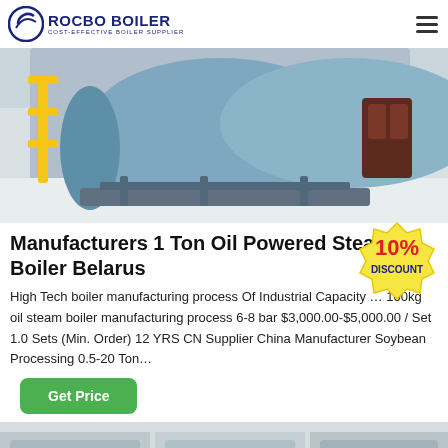ROCBO BOILER — COST-EFFECTIVE BOILER SUPPLIER
[Figure (photo): Industrial oil steam boiler installation inside a factory building, showing large cylindrical blue/grey boiler with yellow pipe supports and a red door in background]
Manufacturers 1 Ton Oil Powered Steam Boiler Belarus
[Figure (infographic): 10% DISCOUNT badge/sticker in red and yellow]
High Tech boiler manufacturing process Of Industrial Capacity … 100kg oil steam boiler manufacturing process 6-8 bar $3,000.00-$5,000.00 / Set 1.0 Sets (Min. Order) 12 YRS CN Supplier China Manufacturer Soybean Processing 0.5-20 Ton…
Get Price
[Figure (photo): Partial view of another boiler product at the bottom of the page]